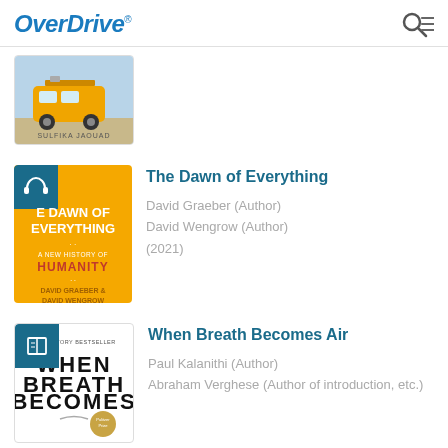OverDrive
[Figure (screenshot): Book cover: van on a beach road, author Sulfika Jaouad]
[Figure (illustration): Book cover: The Dawn of Everything - A New History of Humanity by David Graeber and David Wengrow, orange background]
The Dawn of Everything
David Graeber (Author)
David Wengrow (Author)
(2021)
[Figure (illustration): Book cover: When Breath Becomes Air, black and white text cover]
When Breath Becomes Air
Paul Kalanithi (Author)
Abraham Verghese (Author of introduction, etc.)